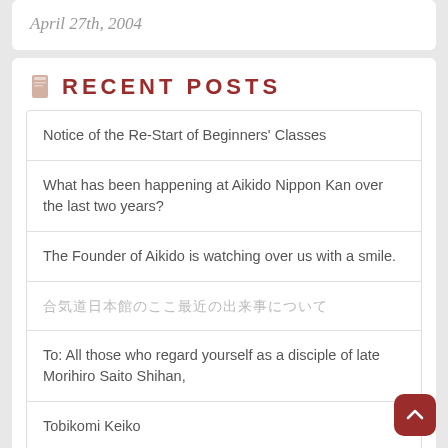April 27th, 2004
RECENT POSTS
Notice of the Re-Start of Beginners' Classes
What has been happening at Aikido Nippon Kan over the last two years?
The Founder of Aikido is watching over us with a smile.
合気道日本館のここ最近の出来事について
To: All those who regard yourself as a disciple of late Morihiro Saito Shihan,
Tobikomi Keiko
Letter from Sensei